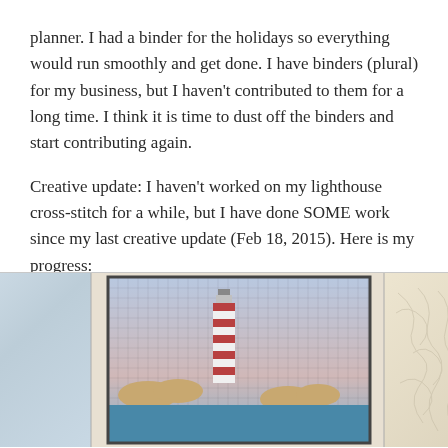planner.  I had a binder for the holidays so everything would run smoothly and get done.  I have binders (plural) for my business, but I haven't contributed to them for a long time.  I think it is time to dust off the binders and start contributing again.

Creative update: I haven't worked on my lighthouse cross-stitch for a while, but I have done SOME work since my last creative update (Feb 18, 2015).  Here is my progress:
[Figure (photo): A three-panel photograph showing a lighthouse cross-stitch in progress in the center panel (depicting a striped lighthouse with clouds against a blue/pink background on gridded fabric), a plain light fabric panel on the left, and a cream-colored embossed or textured fabric/material on the right.]